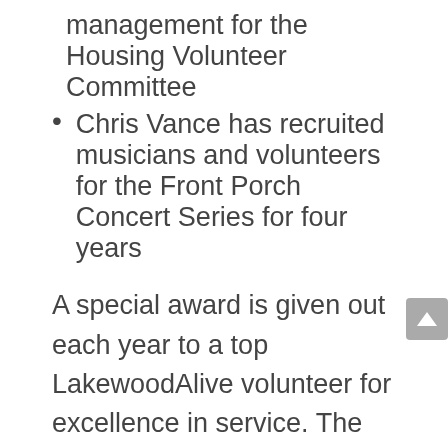management for the Housing Volunteer Committee
Chris Vance has recruited musicians and volunteers for the Front Porch Concert Series for four years
A special award is given out each year to a top LakewoodAlive volunteer for excellence in service. The Laskey Service Award was named for Tim Laskey, a founding member of LakewoodAlive. The 2014 Laskey Service Award recipient is Carl Orban. Carl has volunteered with LakewoodAlive since 2013 and has been